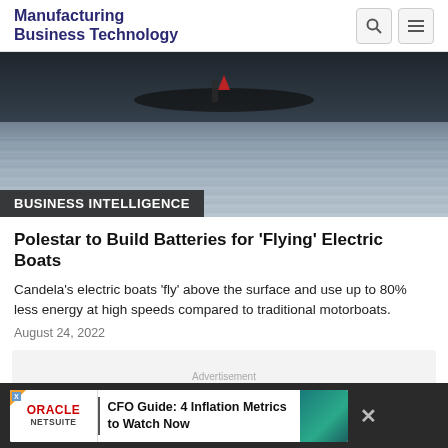Manufacturing Business Technology
[Figure (photo): Aerial or surface view of a speedboat on water with dark hull and water spray, dramatic lighting]
BUSINESS INTELLIGENCE
Polestar to Build Batteries for 'Flying' Electric Boats
Candela's electric boats 'fly' above the surface and use up to 80% less energy at high speeds compared to traditional motorboats.
August 24, 2022
Advertisement
[Figure (infographic): Oracle NetSuite advertisement banner: CFO Guide: 4 Inflation Metrics to Watch Now]